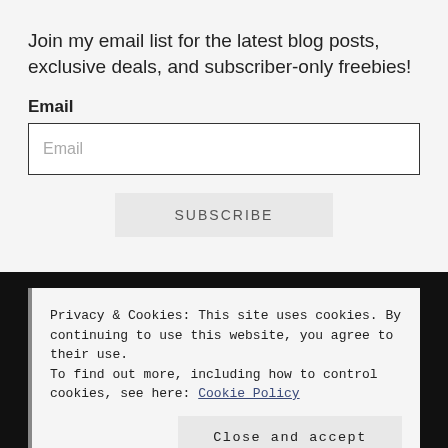Join my email list for the latest blog posts, exclusive deals, and subscriber-only freebies!
Email
Email (input placeholder)
SUBSCRIBE
Privacy & Cookies: This site uses cookies. By continuing to use this website, you agree to their use.
To find out more, including how to control cookies, see here: Cookie Policy
Close and accept